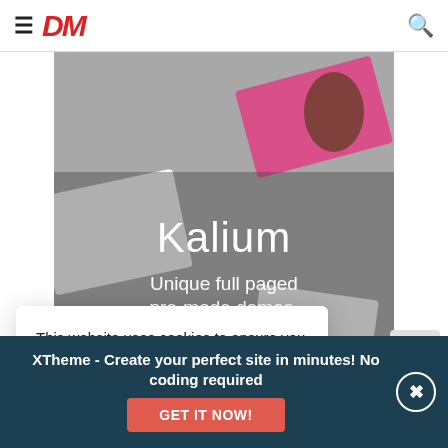≡ DM [logo] 🔍
[Figure (screenshot): Website hero screenshot showing Kalium theme with text 'Kalium – Unique full paged pre-made demos.' overlaid on a collage of device mockups on a grey background]
This website uses cookies to ensure you get the best experience on our website. Read more
XTheme - Create your perfect site in minutes! No coding required
GET IT NOW!